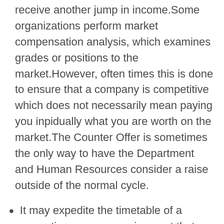receive another jump in income.Some organizations perform market compensation analysis, which examines grades or positions to the market.However, often times this is done to ensure that a company is competitive which does not necessarily mean paying you inpidually what you are worth on the market.The Counter Offer is sometimes the only way to have the Department and Human Resources consider a raise outside of the normal cycle.
It may expedite the timetable of a promotion or a new assignment that was in the cards but was not scheduled until later.This will allow you to reap the benefits